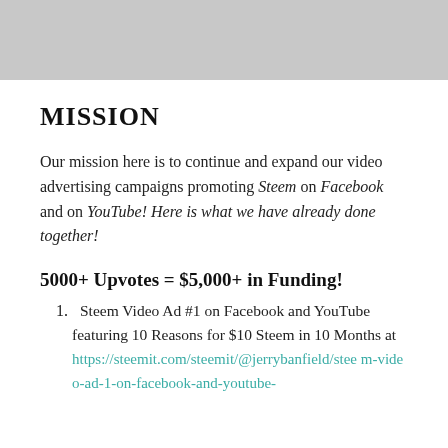[Figure (photo): Gray placeholder image at the top of the page]
MISSION
Our mission here is to continue and expand our video advertising campaigns promoting Steem on Facebook and on YouTube! Here is what we have already done together!
5000+ Upvotes = $5,000+ in Funding!
Steem Video Ad #1 on Facebook and YouTube featuring 10 Reasons for $10 Steem in 10 Months at https://steemit.com/steemit/@jerrybanfield/steem-video-ad-1-on-facebook-and-youtube-